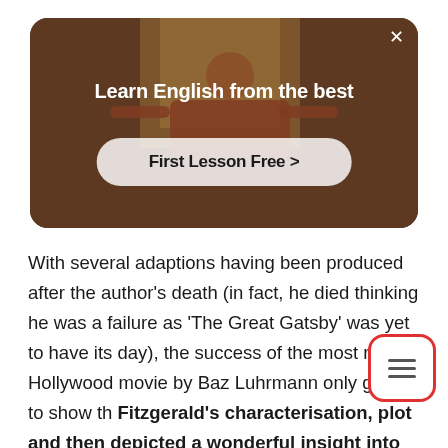[Figure (screenshot): Advertisement banner with a dark background showing a person with arms outstretched. Text reads 'Learn English from the best' with a 'First Lesson Free >' button. An X close button is in the top right.]
With several adaptions having been produced after the author's death (in fact, he died thinking he was a failure as 'The Great Gatsby' was yet to have its day), the success of the most recent Hollywood movie by Baz Luhrmann only goes to show th Fitzgerald's characterisation, plot and them depicted a wonderful insight into the roaring 20s,